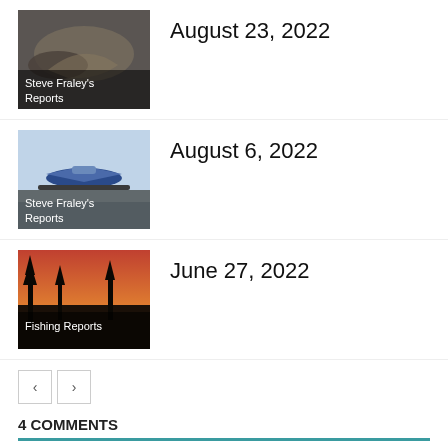[Figure (photo): Thumbnail photo for August 23, 2022 post — fish/nature scene with overlay label 'Steve Fraley's Reports']
August 23, 2022
[Figure (photo): Thumbnail photo for August 6, 2022 post — small airplane in snowy landscape with overlay label 'Steve Fraley's Reports']
August 6, 2022
[Figure (photo): Thumbnail photo for June 27, 2022 post — sunset silhouette of trees with overlay label 'Fishing Reports']
June 27, 2022
< >
4 COMMENTS
[Figure (illustration): Gray circular avatar icon for commenter Ben]
Ben
October 11, 2018 At 6:17 pm